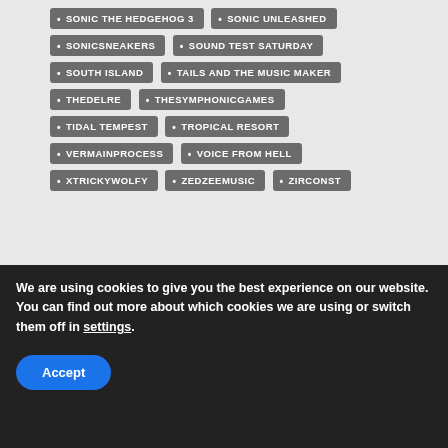SONIC THE HEDGEHOG 3
SONIC UNLEASHED
SONICSNEAKERS
SOUND TEST SATURDAY
SOUTH ISLAND
TAILS AND THE MUSIC MAKER
THEDELRE
THESYMPHONICGAMES
TIDAL TEMPEST
TROPICAL RESORT
VERMAINPROCESS
VOICE FROM HELL
XTRICKYWOLFY
ZEDZEEMUSIC
ZIRCONST
The Sonic Stadium may link to retailers and earn a small commission on purchases made from users who click those links.
We are using cookies to give you the best experience on our website.
You can find out more about which cookies we are using or switch them off in settings.
Accept